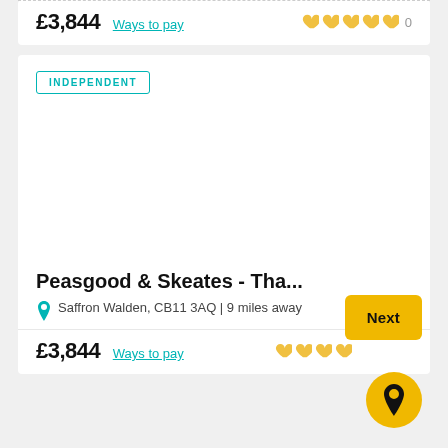£3,844  Ways to pay  ♥♥♥♥♥ 0
INDEPENDENT
Peasgood & Skeates - Tha...
Saffron Walden, CB11 3AQ | 9 miles away
£3,844  Ways to pay  ♥♥♥♥
Next
[Figure (other): Yellow map pin location button]